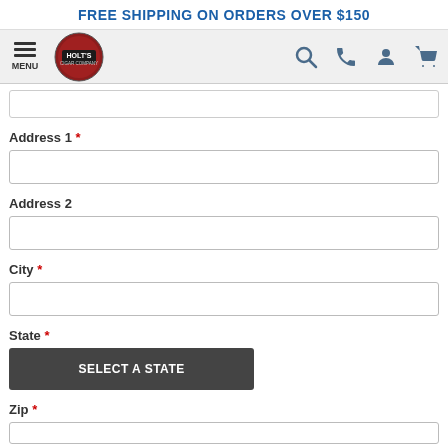FREE SHIPPING ON ORDERS OVER $150
[Figure (logo): Holt's Cigar Company logo with navigation bar including menu, search, phone, account, and cart icons]
Address 1 *
Address 2
City *
State *
SELECT A STATE
Zip *